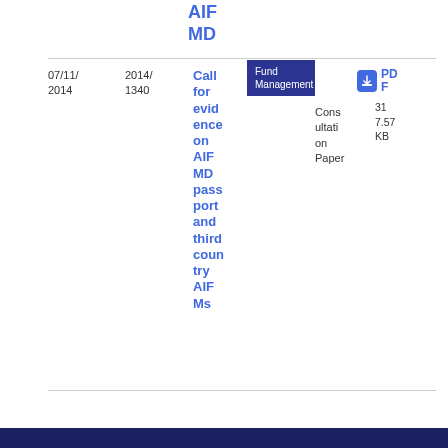AIF MD
| Date | Ref | Title | Category | Type | Download | Size |
| --- | --- | --- | --- | --- | --- | --- |
| 07/11/2014 | 2014/1340 | Call for evidence on AIFMD passport and third country AIFMs | Fund Management | Consultation Paper | PDF | 317.57 KB |